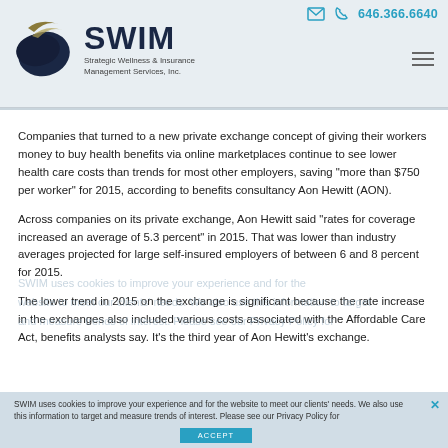646.366.6640 | SWIM Strategic Wellness & Insurance Management Services, Inc.
Companies that turned to a new private exchange concept of giving their workers money to buy health benefits via online marketplaces continue to see lower health care costs than trends for most other employers, saving “more than $750 per worker” for 2015, according to benefits consultancy Aon Hewitt (AON).
Across companies on its private exchange, Aon Hewitt said “rates for coverage increased an average of 5.3 percent” in 2015. That was lower than industry averages projected for large self-insured employers of between 6 and 8 percent for 2015.
The lower trend in 2015 on the exchange is significant because the rate increase in the exchanges also included various costs associated with the Affordable Care Act, benefits analysts say. It’s the third year of Aon Hewitt’s exchange.